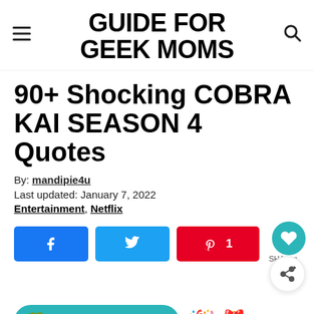GUIDE FOR GEEK MOMS
90+ Shocking COBRA KAI SEASON 4 Quotes
By: mandipie4u
Last updated: January 7, 2022
Entertainment, Netflix
[Figure (screenshot): Social sharing buttons: Facebook share, Twitter share, Pinterest share with count 1, share icon with count 1 SHARES, love/save button, secondary share button]
[Figure (screenshot): Bottom bar with teal rounded button showing 'Thank the creator' text and emoji icons]